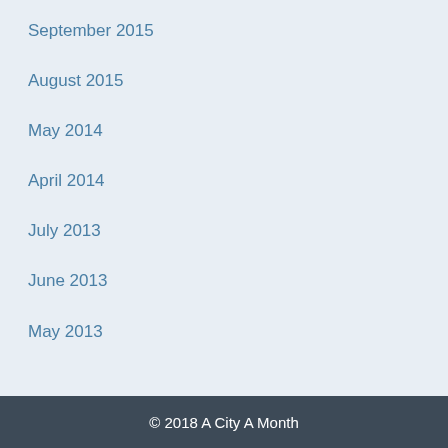September 2015
August 2015
May 2014
April 2014
July 2013
June 2013
May 2013
© 2018 A City A Month